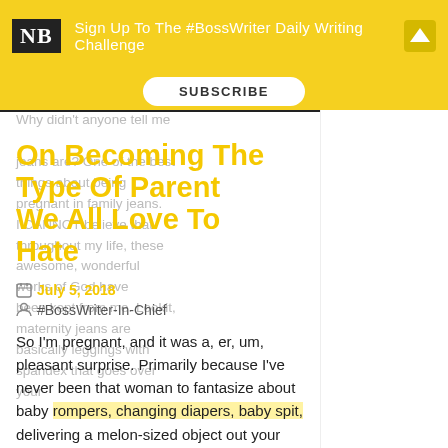NB Sign Up To The #BossWriter Daily Writing Challenge SUBSCRIBE
On Becoming The Type Of Parent We All Love To Hate
Why didn't anyone tell me jeans are? One of the best things about being pregnant in family jeans. I CANNOT believe that throughout my life, these awesome, wonderful works of God have been kept from me. Lookit, maternity jeans are basically leggings with spandex that goes over your
July 5, 2018
#BossWriter-In-Chief
So I'm pregnant, and it was a, er, um, pleasant surprise. Primarily because I've never been that woman to fantasize about baby rompers, changing diapers, baby spit, delivering a melon-sized object out your vagina, and all the other thralls of